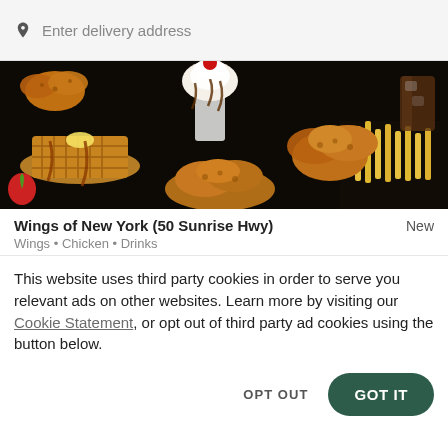Enter delivery address
[Figure (photo): Restaurant banner photo showing waffles with syrup, fried chicken wings, a milkshake sundae with cherry, french fries, and various food items on a dark background]
Wings of New York (50 Sunrise Hwy)
Wings • Chicken • Drinks
This website uses third party cookies in order to serve you relevant ads on other websites. Learn more by visiting our Cookie Statement, or opt out of third party ad cookies using the button below.
OPT OUT
GOT IT